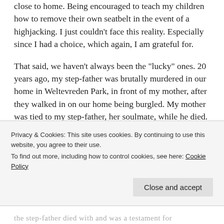close to home. Being encouraged to teach my children how to remove their own seatbelt in the event of a highjacking. I just couldn't face this reality. Especially since I had a choice, which again, I am grateful for.

That said, we haven't always been the "lucky" ones. 20 years ago, my step-father was brutally murdered in our home in Weltevreden Park, in front of my mother, after they walked in on our home being burgled. My mother was tied to my step-father, her soulmate, while he died. My
Privacy & Cookies: This site uses cookies. By continuing to use this website, you agree to their use.
To find out more, including how to control cookies, see here: Cookie Policy
Close and accept